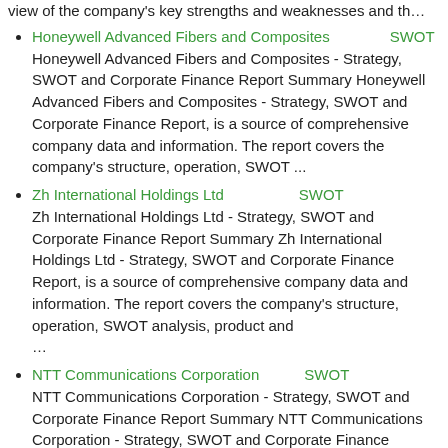view of the company's key strengths and weaknesses and th...
Honeywell Advanced Fibers and Composites　　　　SWOT　　　
Honeywell Advanced Fibers and Composites - Strategy, SWOT and Corporate Finance Report Summary Honeywell Advanced Fibers and Composites - Strategy, SWOT and Corporate Finance Report, is a source of comprehensive company data and information. The report covers the company's structure, operation, SWOT ...
Zh International Holdings Ltd　　　　　SWOT　　　
Zh International Holdings Ltd - Strategy, SWOT and Corporate Finance Report Summary Zh International Holdings Ltd - Strategy, SWOT and Corporate Finance Report, is a source of comprehensive company data and information. The report covers the company's structure, operation, SWOT analysis, product and ...
NTT Communications Corporation　　　SWOT　　　　
NTT Communications Corporation - Strategy, SWOT and Corporate Finance Report Summary NTT Communications Corporation - Strategy, SWOT and Corporate Finance Report, is a source of comprehensive company data and information. The report covers the company's structure, operation, SWOT analysis, product a ...